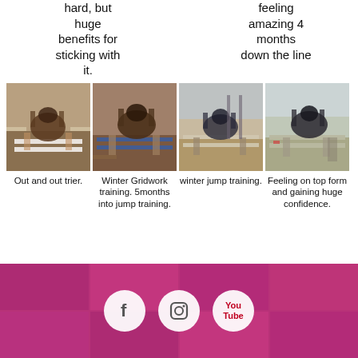hard, but huge benefits for sticking with it.
feeling amazing 4 months down the line
[Figure (photo): Four photos of horses and riders jumping over fences during equestrian training sessions]
Out and out trier.
Winter Gridwork training. 5months into jump training.
winter jump training.
Feeling on top form and gaining huge confidence.
[Figure (infographic): Pink/magenta banner with social media icons: Facebook, Instagram, YouTube, overlaid on a grid of animal photos with pink tint]